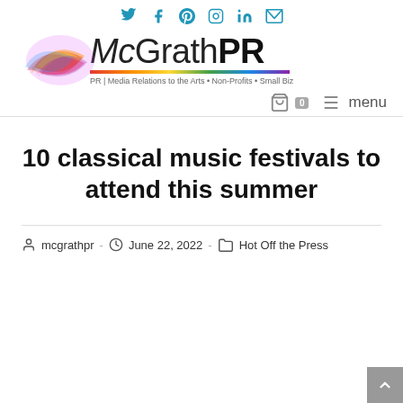Social icons: Twitter, Facebook, Pinterest, Instagram, LinkedIn, Email
[Figure (logo): McGrathPR logo with colorful swirl, rainbow underline, and tagline: PR | Media Relations to the Arts • Non-Profits • Small Biz]
🛍 0  ≡ menu
10 classical music festivals to attend this summer
mcgrathpr  -  June 22, 2022  -  Hot Off the Press